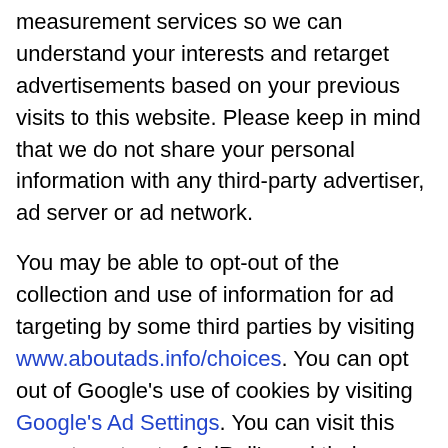measurement services so we can understand your interests and retarget advertisements based on your previous visits to this website. Please keep in mind that we do not share your personal information with any third-party advertiser, ad server or ad network.
You may be able to opt-out of the collection and use of information for ad targeting by some third parties by visiting www.aboutads.info/choices. You can opt out of Google's use of cookies by visiting Google's Ad Settings. You can visit this page to opt out of AdRoll's and their partners' targeted advertising. Please see “Cookies” in the section above for more information on how you can control the use of cookies on your computer.
California Do Not Track: Our web services do